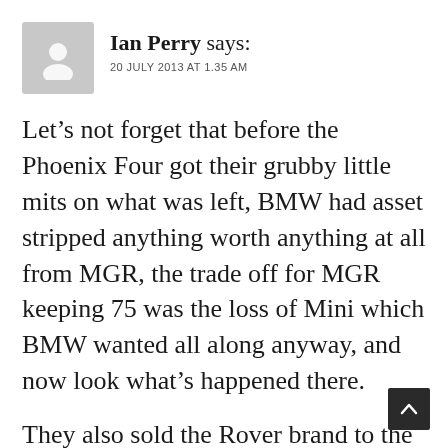[Figure (illustration): Generic user avatar icon — a grey rounded square with a white silhouette of a person (head and shoulders)]
Ian Perry says: 20 JULY 2013 AT 1.35 AM
Let’s not forget that before the Phoenix Four got their grubby little mits on what was left, BMW had asset stripped anything worth anything at all from MGR, the trade off for MGR keeping 75 was the loss of Mini which BMW wanted all along anyway, and now look what’s happened there.
They also sold the Rover brand to the Indians eventually, leaving the Chinese to